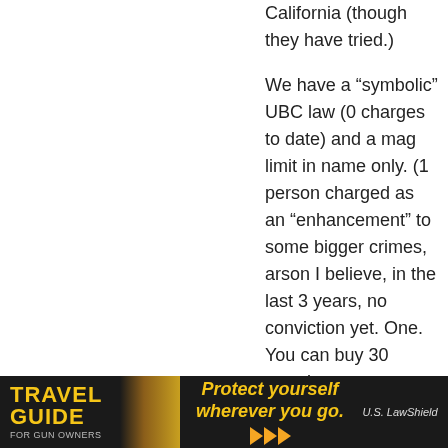California (though they have tried.)
We have a “symbolic” UBC law (0 charges to date) and a mag limit in name only. (1 person charged as an “enhancement” to some bigger crimes, arson I believe, in the last 3 years, no conviction yet. One. You can buy 30 rounders everywhere.)
Even for the other states… I don’t understand why Wal Mart has to be the morality police.
Reply
CafematicLSMFT
December 27, 2015 At 16:10
Hey, this is my first post here at TTAG, but
Michi, where
purango for
[Figure (infographic): Travel Guide For Gun Owners advertisement banner with yellow text, 'Protect yourself wherever you go.' tagline, and U.S. LawShield logo]